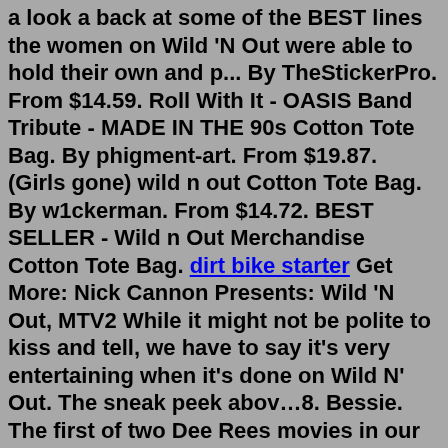a look a back at some of the BEST lines the women on Wild 'N Out were able to hold their own and p... By TheStickerPro. From $14.59. Roll With It - OASIS Band Tribute - MADE IN THE 90s Cotton Tote Bag. By phigment-art. From $19.87. (Girls gone) wild n out Cotton Tote Bag. By w1ckerman. From $14.72. BEST SELLER - Wild n Out Merchandise Cotton Tote Bag. dirt bike starter Get More: Nick Cannon Presents: Wild 'N Out, MTV2 While it might not be polite to kiss and tell, we have to say it's very entertaining when it's done on Wild N' Out. The sneak peek abov…8. Bessie. The first of two Dee Rees movies in our top ten, Bessie is a biopic of legendary bisexual blues singer Bessie Smith. This movie features one of Queen Latifah's all-time best ...Discover short videos related to best puck up lines on TikTok. Watch popular content from the following creators: Bankroll(@atmgetmoney_), Ali Weatherly (@aliweatherly), em🌙(@hottestmessyoullevermeet), Sahar(@saharrooo), PICK UP LINES(@pickuplyn), ALEX SEDLAK(@alexsedlak1), O F F I C I A